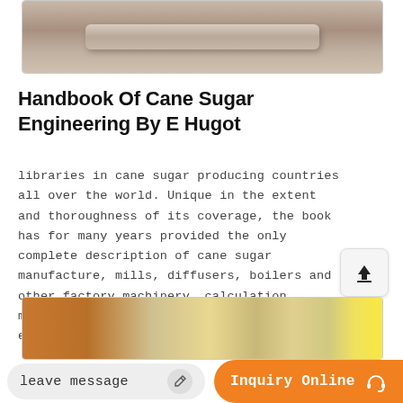[Figure (photo): Top portion of a photograph showing a stone or concrete slab/surface with textured background, partially cropped]
Handbook Of Cane Sugar Engineering By E Hugot
libraries in cane sugar producing countries all over the world. Unique in the extent and thoroughness of its coverage, the book has for many years provided the only complete description of cane sugar manufacture, mills, diffusers, boilers and other factory machinery, calculation methods of capacity for every piece of equipment, and
[Figure (photo): Bottom portion of a photograph showing industrial or warehouse setting with orange and yellow elements visible]